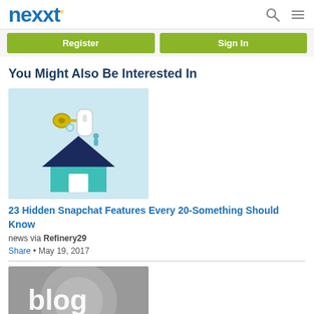nexxt | Register | Sign In
You Might Also Be Interested In
[Figure (illustration): House with keys illustration on light blue background]
23 Hidden Snapchat Features Every 20-Something Should Know
news via Refinery29
Share • May 19, 2017
[Figure (photo): Blog text on grey circular background]